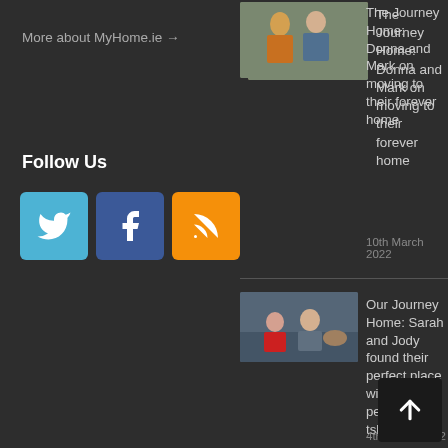More about MyHome.ie →
Follow Us
[Figure (illustration): Three social media buttons: Twitter (blue), Facebook (dark blue), RSS (orange)]
[Figure (photo): Photo of a couple, woman in yellow top and man in blue shirt]
The Journey Home: Donna and Mark on moving to their forever home
10th March 2022
[Figure (photo): Photo of a couple with a dog on a couch, woman in red top and man]
Our Journey Home: Sarah and Jody found their perfect place with permanent tsb
4th March 2022